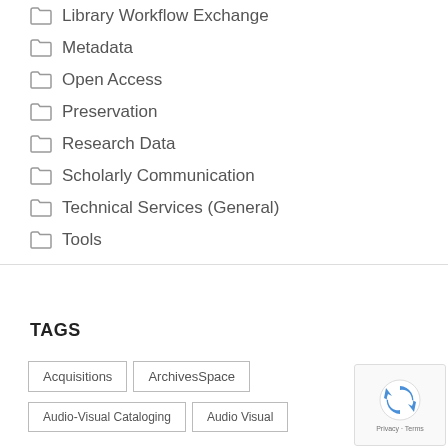Library Workflow Exchange
Metadata
Open Access
Preservation
Research Data
Scholarly Communication
Technical Services (General)
Tools
TAGS
Acquisitions
ArchivesSpace
Audio-Visual Cataloging
Audio Visual